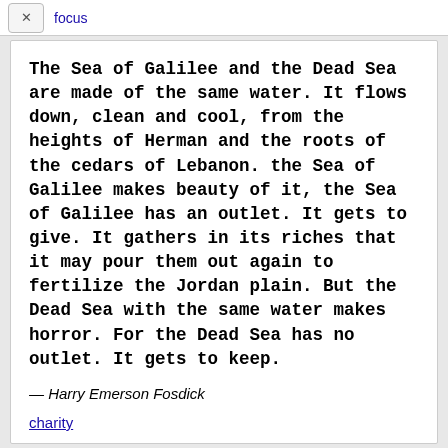focus
The Sea of Galilee and the Dead Sea are made of the same water. It flows down, clean and cool, from the heights of Herman and the roots of the cedars of Lebanon. the Sea of Galilee makes beauty of it, the Sea of Galilee has an outlet. It gets to give. It gathers in its riches that it may pour them out again to fertilize the Jordan plain. But the Dead Sea with the same water makes horror. For the Dead Sea has no outlet. It gets to keep.
— Harry Emerson Fosdick
charity